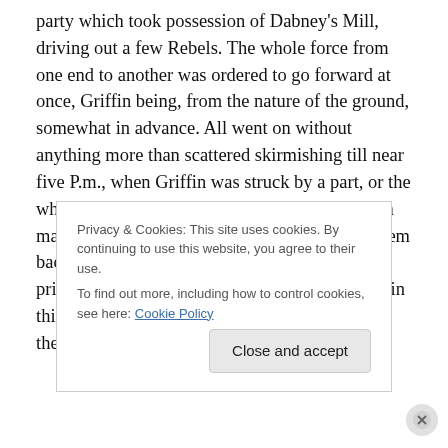party which took possession of Dabney's Mill, driving out a few Rebels. The whole force from one end to another was ordered to go forward at once, Griffin being, from the nature of the ground, somewhat in advance. All went on without anything more than scattered skirmishing till near five P.m., when Griffin was struck by a part, or the whole, of two Rebel divisions. But G. is a rough man to handle, and, after a sharp fight, drove them back and followed them up, taking a hundred prisoners. Our losses were some 400 altogether in this affair. Of the enemy we buried 126; so that their total loss, including prisoners, must be,
Privacy & Cookies: This site uses cookies. By continuing to use this website, you agree to their use.
To find out more, including how to control cookies, see here: Cookie Policy